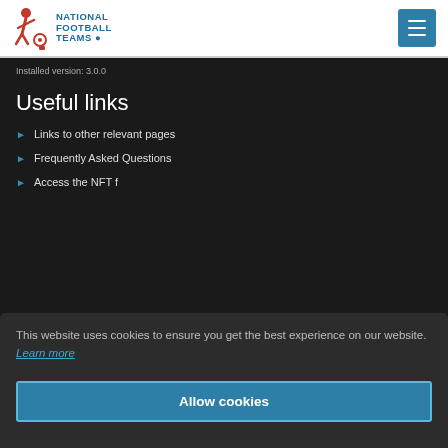National Football Teams
Installed version: 3.0.0
Useful links
Links to other relevant pages
Frequently Asked Questions
Access the NFT f...
This website uses cookies to ensure you get the best experience on our website. Learn more
Allow cookies